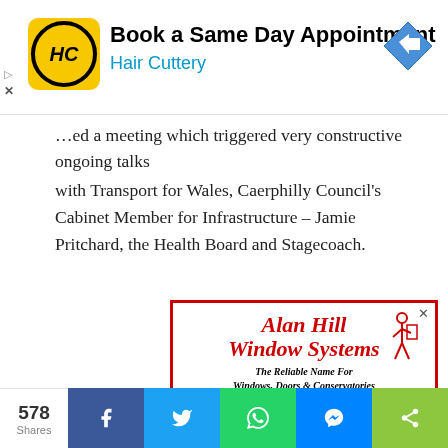[Figure (other): Hair Cuttery advertisement banner: yellow logo with HC letters in circle, text 'Book a Same Day Appointment' and 'Hair Cuttery' in blue, blue diamond arrow icon on right]
...ed a meeting which triggered very constructive ongoing talks with Transport for Wales, Caerphilly Council's Cabinet Member for Infrastructure – Jamie Pritchard, the Health Board and Stagecoach.
[Figure (other): Alan Hill Window Systems advertisement with red cursive text logo, figure of person installing window, tagline 'The Reliable Name For Windows, Doors & Conservatories', photos of conservatories at bottom]
578 Shares